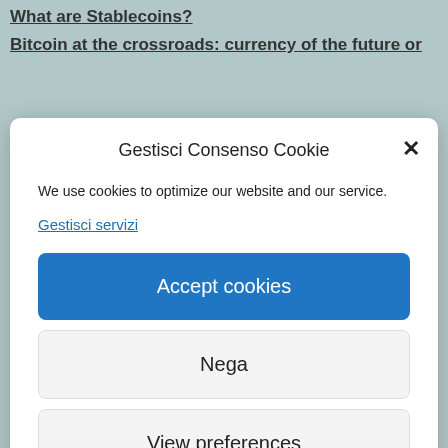What are Stablecoins?
Bitcoin at the crossroads: currency of the future or
Gestisci Consenso Cookie
We use cookies to optimize our website and our service.
Gestisci servizi
Accept cookies
Nega
View preferences
Cookie Policy